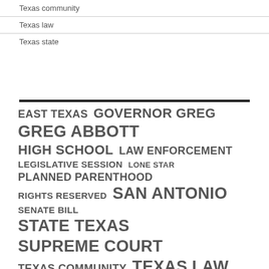Texas community
Texas law
Texas state
[Figure (infographic): Tag cloud of Texas-related phrases in varying font sizes indicating frequency/importance: EAST TEXAS, GOVERNOR GREG, GREG ABBOTT, HIGH SCHOOL, LAW ENFORCEMENT, LEGISLATIVE SESSION, LONE STAR, PLANNED PARENTHOOD, RIGHTS RESERVED, SAN ANTONIO, SENATE BILL, STATE TEXAS, SUPREME COURT, TEXAS COMMUNITY, TEXAS LAW, TEXAS STATE, TEXAS TEXAS, UNITED STATES]